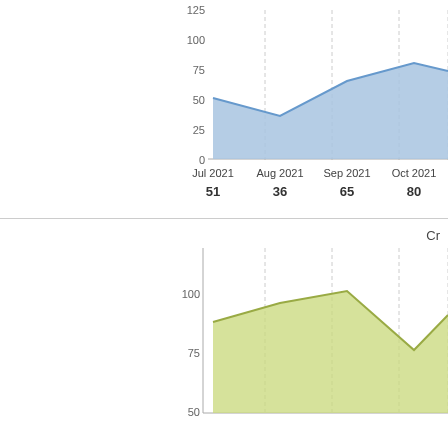[Figure (area-chart): ]
[Figure (area-chart): Cr]